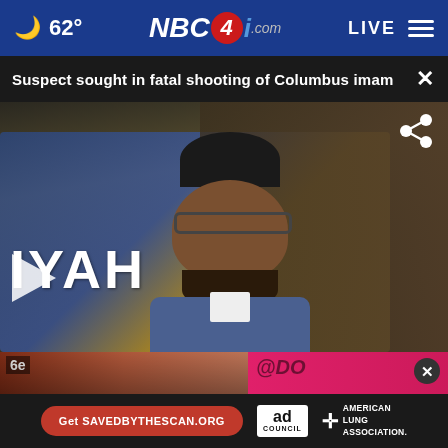🌙 62°  NBC4i.com  LIVE ≡
Suspect sought in fatal shooting of Columbus imam ✕
[Figure (photo): Video thumbnail showing an imam wearing a dark kufi cap and glasses in a blue suit jacket, with text 'IYAH' visible on a banner behind him. A play button is overlaid on the lower left and a share icon appears in the upper right.]
[Figure (screenshot): Thumbnail strip showing two smaller images side by side: a sports scene on the left labeled '6e' and a pink/magenta background on the right with a close button overlay.]
[Figure (infographic): Ad banner showing a red rounded button with text 'Get SAVEDBYTHESCAN.ORG', an Ad Council badge logo, and American Lung Association logo with cross symbol.]